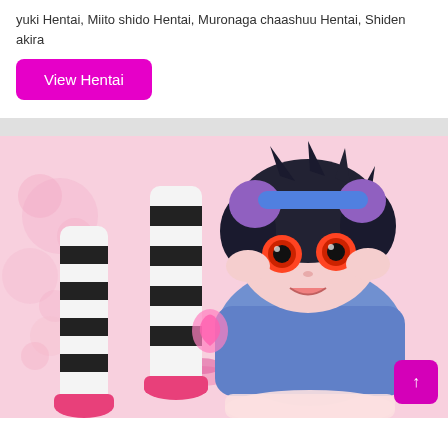yuki Hentai, Miito shido Hentai, Muronaga chaashuu Hentai, Shiden akira
View Hentai
[Figure (illustration): Anime/manga style illustration of a dark-haired girl with purple hair accessories wearing a blue top and black-and-white striped stockings with pink shoes, lying on a pink floral background, with wide orange/red eyes looking upward.]